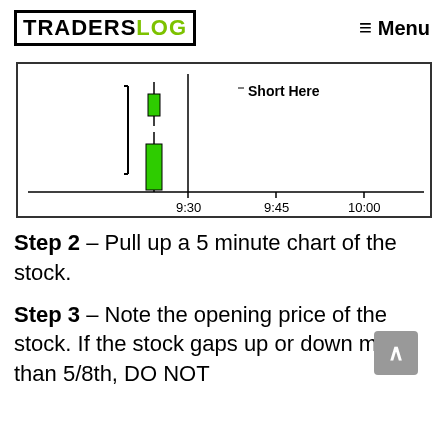TRADERSLOG — Menu
[Figure (other): Candlestick chart snippet showing two green candles before 9:30, with a vertical line and label 'Short Here' to the right. X-axis shows time ticks at 9:30, 9:45, 10:00.]
Step 2 – Pull up a 5 minute chart of the stock.
Step 3 – Note the opening price of the stock. If the stock gaps up or down more than 5/8th, DO NOT